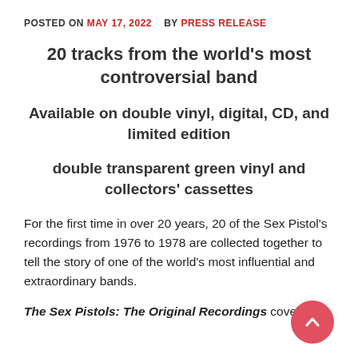POSTED ON MAY 17, 2022  BY PRESS RELEASE
20 tracks from the world's most controversial band
Available on double vinyl, digital, CD, and limited edition
double transparent green vinyl and collectors' cassettes
For the first time in over 20 years, 20 of the Sex Pistol's recordings from 1976 to 1978 are collected together to tell the story of one of the world's most influential and extraordinary bands.
The Sex Pistols: The Original Recordings covers a